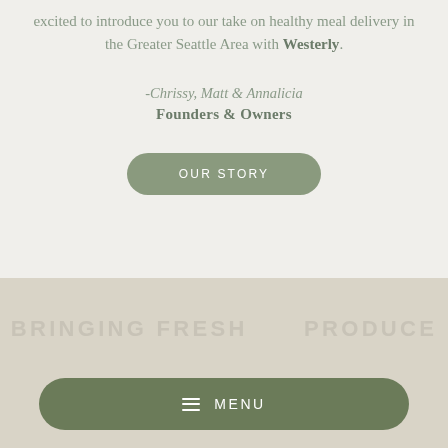excited to introduce you to our take on healthy meal delivery in the Greater Seattle Area with Westerly.
-Chrissy, Matt & Annalicia
Founders & Owners
OUR STORY
MENU